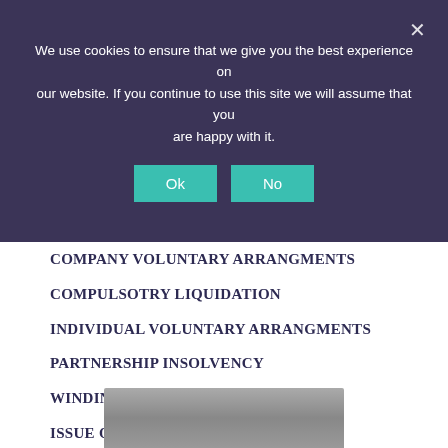We use cookies to ensure that we give you the best experience on our website. If you continue to use this site we will assume that you are happy with it.
COMPANY VOLUNTARY ARRANGMENTS
COMPULSOTRY LIQUIDATION
INDIVIDUAL VOLUNTARY ARRANGMENTS
PARTNERSHIP INSOLVENCY
WINDING UP OF A COMPANY
ISSUE OF A STATUTORY DEMAND
INSOLVENCY RULES
[Figure (photo): Partial photo of a person visible at the bottom of the page, grayscale]